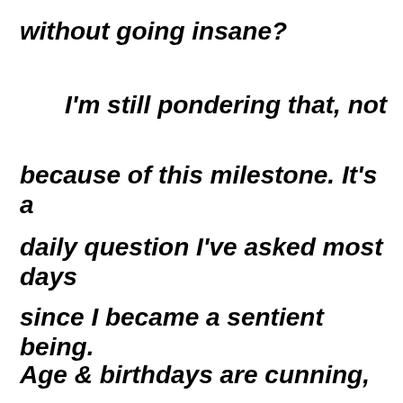without going insane?
I'm still pondering that, not
because of this milestone. It's a
daily question I've asked most days
since I became a sentient being.
Age & birthdays are cunning,
b…